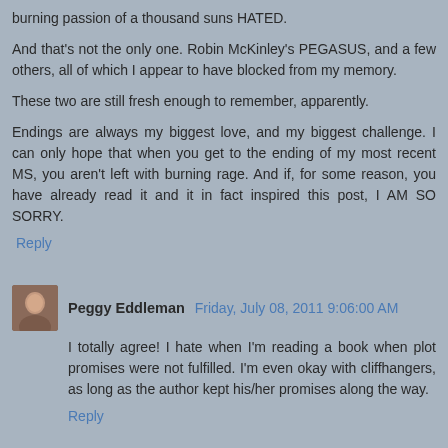burning passion of a thousand suns HATED.
And that's not the only one. Robin McKinley's PEGASUS, and a few others, all of which I appear to have blocked from my memory.
These two are still fresh enough to remember, apparently.
Endings are always my biggest love, and my biggest challenge. I can only hope that when you get to the ending of my most recent MS, you aren't left with burning rage. And if, for some reason, you have already read it and it in fact inspired this post, I AM SO SORRY.
Reply
Peggy Eddleman Friday, July 08, 2011 9:06:00 AM
I totally agree! I hate when I'm reading a book when plot promises were not fulfilled. I'm even okay with cliffhangers, as long as the author kept his/her promises along the way.
Reply